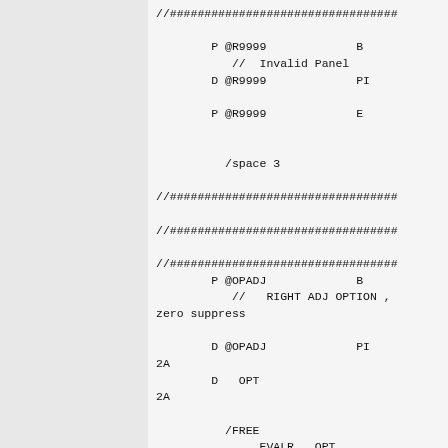//################################
        P @R9999             B
           //  Invalid Panel
        D @R9999             PI

        P @R9999             E


          /space 3

//################################

//################################

//################################
        P @OPADJ             B
           //   RIGHT ADJ OPTION , zero suppress

        D @OPADJ             PI
2A
        D   OPT
2A

          /FREE
               EVALR   OPT
= %trimr(OPT);
               If %SubSt(OPT:1:1) =
'0';
               OPT    = ' ' +
 %SubSt(OPT:2:1);